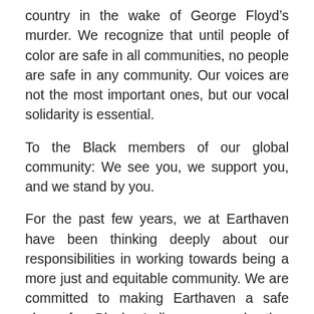country in the wake of George Floyd's murder. We recognize that until people of color are safe in all communities, no people are safe in any community. Our voices are not the most important ones, but our vocal solidarity is essential.
To the Black members of our global community: We see you, we support you, and we stand by you.
For the past few years, we at Earthaven have been thinking deeply about our responsibilities in working towards being a more just and equitable community. We are committed to making Earthaven a safe place for Black, Indigenous, and other People of Color to visit, study, and live. We will keep striving to be an anti-racist community. Click here to learn more. Earthaven...